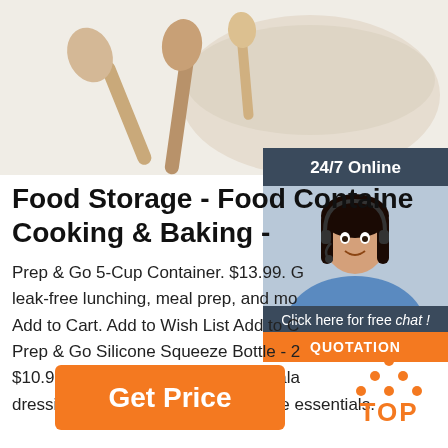[Figure (photo): Product photo of wooden cooking spoons and a beige/cream mixing bowl on a light background]
Food Storage - Food Containers, Cooking & Baking -
Prep & Go 5-Cup Container. $13.99. Great for leak-free lunching, meal prep, and more. Add to Cart. Add to Wish List Add to Cart. Prep & Go Silicone Squeeze Bottle - 2... $10.99. The leakproof way to tote salad dressing, sauces and other mealtime essentials.
[Figure (other): 24/7 Online chat widget with a woman wearing a headset, 'Click here for free chat!' text, and an orange QUOTATION button]
Get Price
[Figure (other): Orange TOP button with dots arranged in a triangle above the text TOP]